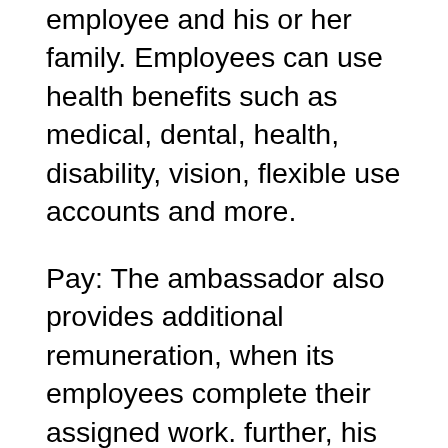employee and his or her family. Employees can use health benefits such as medical, dental, health, disability, vision, flexible use accounts and more.
Pay: The ambassador also provides additional remuneration, when its employees complete their assigned work. further, his employees can participate in American Airlines Profit Sharing.
Savings & Retirement: a messenger also has a special package for its employees at retirement.
Leisure time: Work only, it's boring. So Envoy gives his employees an attractive vacation policy. Employees can enjoy time for several days...